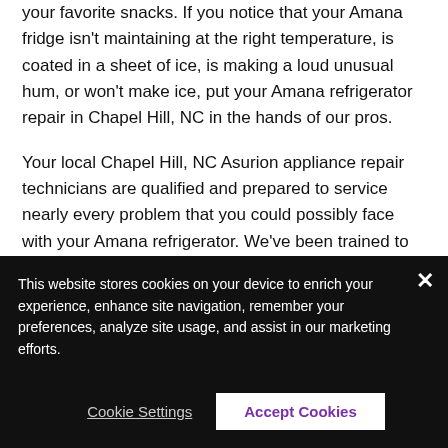your favorite snacks. If you notice that your Amana fridge isn't maintaining at the right temperature, is coated in a sheet of ice, is making a loud unusual hum, or won't make ice, put your Amana refrigerator repair in Chapel Hill, NC in the hands of our pros.
Your local Chapel Hill, NC Asurion appliance repair technicians are qualified and prepared to service nearly every problem that you could possibly face with your Amana refrigerator. We've been trained to repair the complete line of Amana appliances, and can quickly repair your refrigerator. From worn seals to faulty electric, no task is too big or for our Chapel Hill, NC Asurion appliance...
This website stores cookies on your device to enrich your experience, enhance site navigation, remember your preferences, analyze site usage, and assist in our marketing efforts.